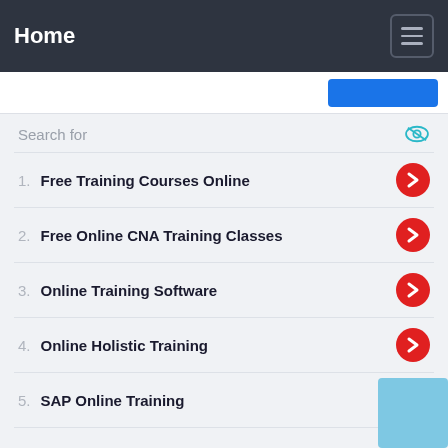Home
Search for
1. Free Training Courses Online
2. Free Online CNA Training Classes
3. Online Training Software
4. Online Holistic Training
5. SAP Online Training
6. Online Web Design Training
Ad | Business Focus